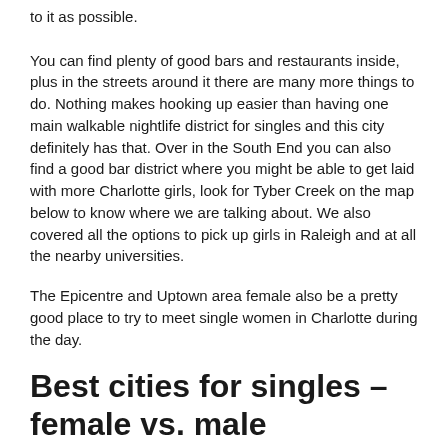to it as possible. You can find plenty of good bars and restaurants inside, plus in the streets around it there are many more things to do. Nothing makes hooking up easier than having one main walkable nightlife district for singles and this city definitely has that. Over in the South End you can also find a good bar district where you might be able to get laid with more Charlotte girls, look for Tyber Creek on the map below to know where we are talking about. We also covered all the options to pick up girls in Raleigh and at all the nearby universities.
The Epicentre and Uptown area female also be a pretty good place to try to meet single women in Charlotte during the day.
Best cities for singles – female vs. male
The internet has revolutionized how we do many things and dating is another. Meeting girls online in Charlotte is going to go a lot faster than trying to meet them face to face. Think of the last time you went out, how many single women did you